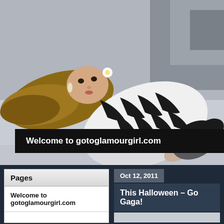[Figure (photo): Woman with long blonde hair wearing a black and white zebra print outfit, lying on a white surface in a fashion pose. Background shows architectural elements in grey tones.]
Welcome to gotoglamourgirl.com
Pages
Welcome to gotoglamourgirl.com
Oct 12, 2011
This Halloween – Go Gaga!